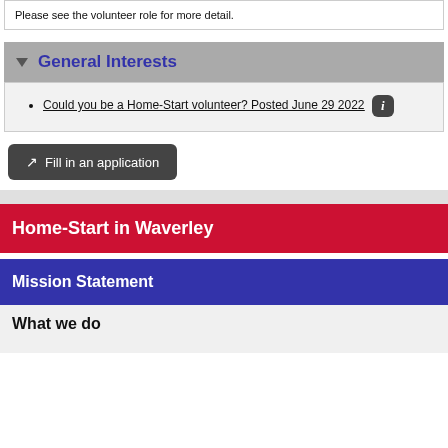Please see the volunteer role for more detail.
General Interests
Could you be a Home-Start volunteer? Posted June 29 2022
Fill in an application
Home-Start in Waverley
Mission Statement
What we do